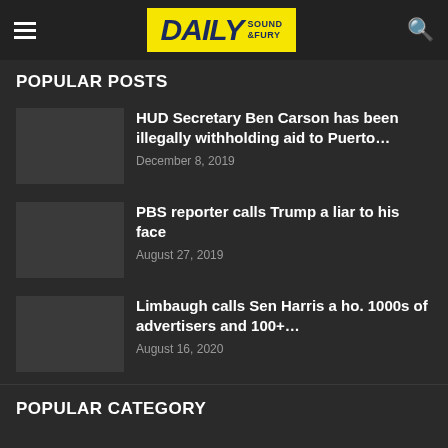Daily Sound & Fury
POPULAR POSTS
HUD Secretary Ben Carson has been illegally withholding aid to Puerto… | December 8, 2019
PBS reporter calls Trump a liar to his face | August 27, 2019
Limbaugh calls Sen Harris a ho. 1000s of advertisers and 100+… | August 16, 2020
POPULAR CATEGORY